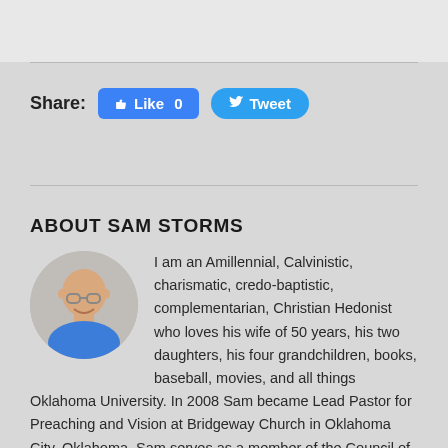Share: 👍 Like 0  🐦 Tweet
ABOUT SAM STORMS
[Figure (photo): Circular headshot of Sam Storms, an older bald man with glasses wearing a blue shirt, smiling]
I am an Amillennial, Calvinistic, charismatic, credo-baptistic, complementarian, Christian Hedonist who loves his wife of 50 years, his two daughters, his four grandchildren, books, baseball, movies, and all things Oklahoma University. In 2008 Sam became Lead Pastor for Preaching and Vision at Bridgeway Church in Oklahoma City, Oklahoma. Sam serves as a member of the Council of The Gospel